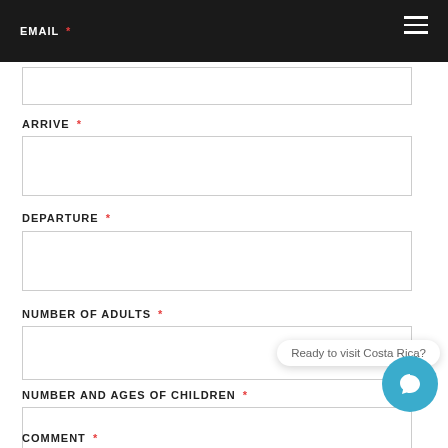EMAIL *
ARRIVE *
DEPARTURE *
NUMBER OF ADULTS *
NUMBER AND AGES OF CHILDREN *
COMMENT *
[Figure (screenshot): Chat bubble overlay saying 'Ready to visit Costa Rica?' with a blue circular chat icon below it]